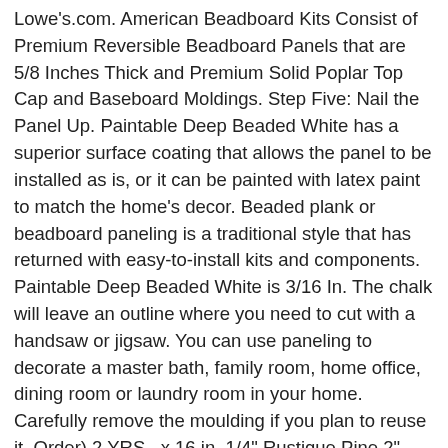Lowe's.com. American Beadboard Kits Consist of Premium Reversible Beadboard Panels that are 5/8 Inches Thick and Premium Solid Poplar Top Cap and Baseboard Moldings. Step Five: Nail the Panel Up. Paintable Deep Beaded White has a superior surface coating that allows the panel to be installed as is, or it can be painted with latex paint to match the home's decor. Beaded plank or beadboard paneling is a traditional style that has returned with easy-to-install kits and components. Paintable Deep Beaded White is 3/16 In. The chalk will leave an outline where you need to cut with a handsaw or jigsaw. You can use paneling to decorate a master bath, family room, home office, dining room or laundry room in your home. Carefully remove the moulding if you plan to reuse it. Order) 2 YRS . x 16 in. 1/4" Rustique Pine 2" Beadboard Panel (SOLD OUT) $70.00 Price per panel for 15-29 panels. Wall studs are typically installed 16 inches apart. I bought enough of the 3.5" X 8' wood beadboard planks from Lowes to do the entire room plus a little overage in case we had a mistake. Paneling is typically available in 32-inch (wainscot)